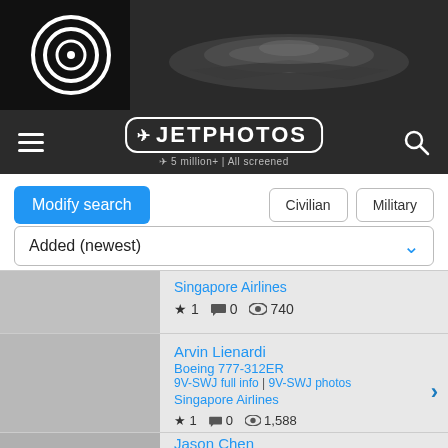[Figure (screenshot): JetPhotos website banner with airplane photo and circular logo on dark background]
JETPHOTOS — 5 million+ | All screened
Modify search | Civilian | Military
Added (newest)
Singapore Airlines ★ 1  🗨 0  👁 740
Arvin Lienardi
Boeing 777-312ER
9V-SWJ full info | 9V-SWJ photos
Singapore Airlines
★ 1  🗨 0  👁 1,588
Jason Chen
Boeing 777-312ER